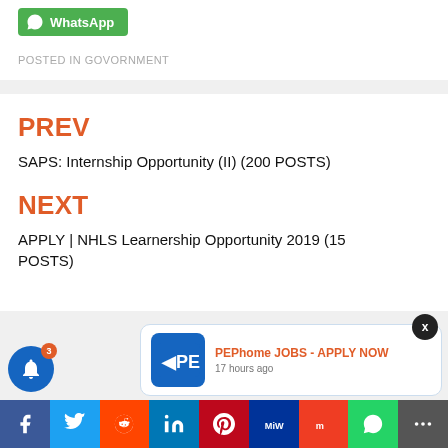[Figure (other): WhatsApp share button (green)]
POSTED IN GOVORNMENT
PREV
SAPS: Internship Opportunity (II) (200 POSTS)
NEXT
APPLY | NHLS Learnership Opportunity 2019 (15 POSTS)
[Figure (other): PEPhome JOBS - APPLY NOW notification popup with PEP logo, 17 hours ago]
[Figure (other): Social share bar with Facebook, Twitter, Reddit, LinkedIn, Pinterest, MeWe, Mix, WhatsApp, More icons]